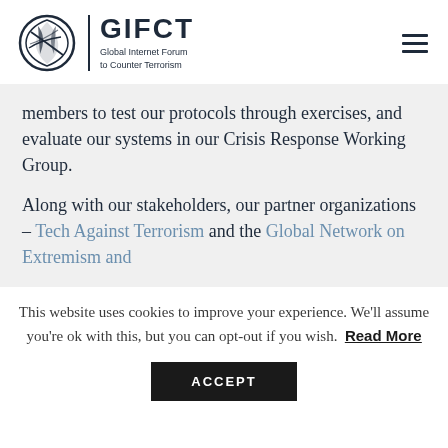GIFCT — Global Internet Forum to Counter Terrorism
members to test our protocols through exercises, and evaluate our systems in our Crisis Response Working Group.
Along with our stakeholders, our partner organizations – Tech Against Terrorism and the Global Network on Extremism and
This website uses cookies to improve your experience. We'll assume you're ok with this, but you can opt-out if you wish. Read More
ACCEPT